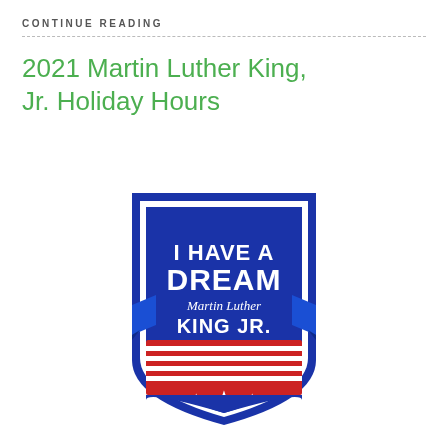CONTINUE READING
2021 Martin Luther King, Jr. Holiday Hours
[Figure (illustration): MLK Jr. badge/shield illustration with blue background, text 'I HAVE A DREAM Martin Luther King KING JR.' with red and white stripes at the bottom and three stars.]